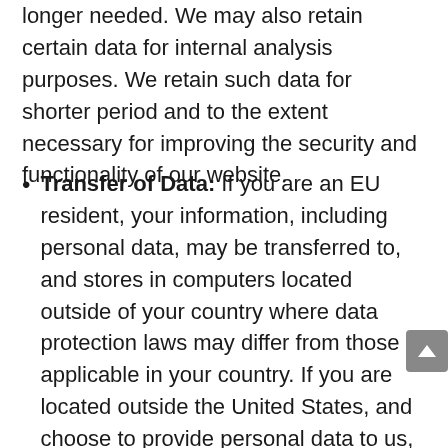longer needed. We may also retain certain data for internal analysis purposes. We retain such data for shorter period and to the extent necessary for improving the security and functionality of our website.
Transfer of Data: If you are an EU resident, your information, including personal data, may be transferred to, and stores in computers located outside of your country where data protection laws may differ from those applicable in your country. If you are located outside the United States, and choose to provide personal data to us, please note that we receive such data and process it here. Your consent to the use of such data and this Privacy Policy constitutes your agreement to the handling